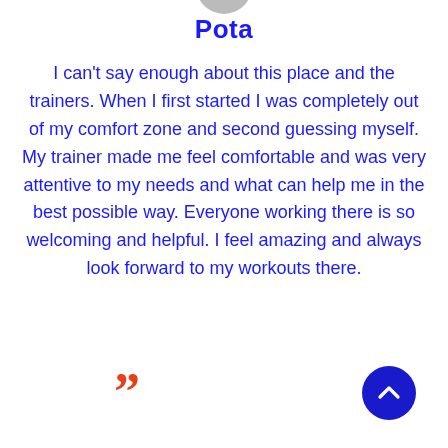Pota
I can't say enough about this place and the trainers. When I first started I was completely out of my comfort zone and second guessing myself. My trainer made me feel comfortable and was very attentive to my needs and what can help me in the best possible way. Everyone working there is so welcoming and helpful. I feel amazing and always look forward to my workouts there.